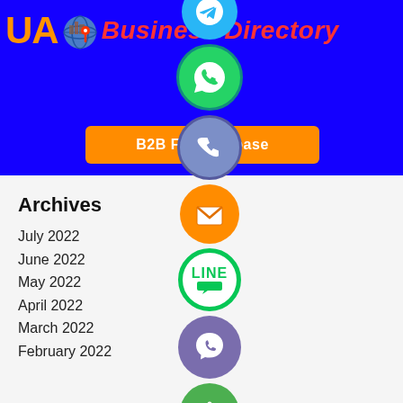[Figure (logo): UA Business Directory logo with orange UA text, globe+pin icon, and red italic 'Business Directory' text on blue header background]
[Figure (infographic): Column of social media icons: Telegram (light blue), WhatsApp (green), Phone (blue-grey), Email (orange), LINE (white/green), Viber (purple), plus (green)]
[Figure (other): Orange button labeled 'B2B Fax Database']
Archives
July 2022
June 2022
May 2022
April 2022
March 2022
February 2022